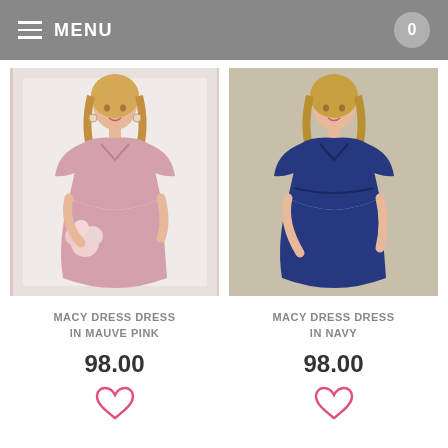MENU  0
[Figure (photo): Model wearing a mauve pink V-neck chiffon flutter-sleeve midi dress, holding a bouquet of pink flowers, against a white wall background.]
MACY DRESS DRESS IN MAUVE PINK
98.00
[Figure (illustration): Heart (wishlist) icon in pink outline]
[Figure (photo): Model wearing a navy blue V-neck chiffon flutter-sleeve midi dress, against a beige/tan background.]
MACY DRESS DRESS IN NAVY
98.00
[Figure (illustration): Heart (wishlist) icon in pink outline]